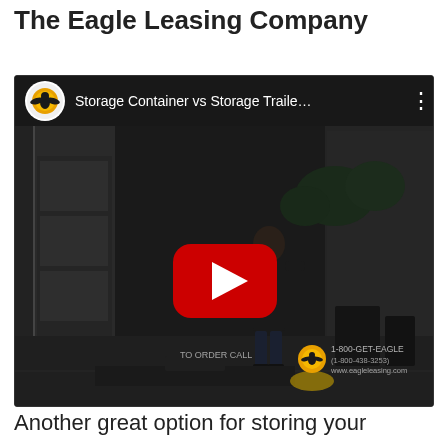The Eagle Leasing Company
[Figure (screenshot): YouTube video thumbnail showing 'Storage Container vs Storage Traile...' with Eagle Leasing Company logo, a red play button in the center, a person standing near a trailer/container in a dark outdoor scene, and contact info overlay reading 'TO ORDER CALL 1-800-GET-EAGLE (1-800-438-3253) www.eagleleasing.com']
Another great option for storing your